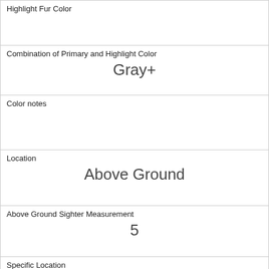| Highlight Fur Color |  |
| Combination of Primary and Highlight Color | Gray+ |
| Color notes |  |
| Location | Above Ground |
| Above Ground Sighter Measurement | 5 |
| Specific Location | tree |
| Running | 0 |
| Chasing | 0 |
| Climbing | 0 |
| Eating | 0 |
| Foraging |  |